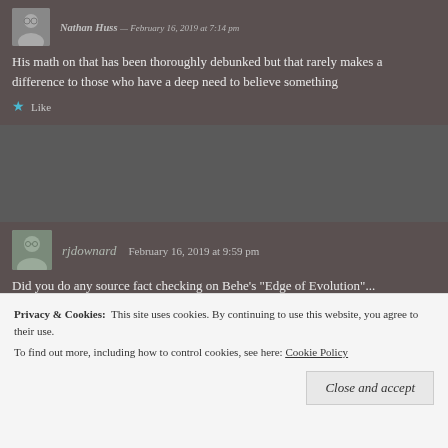His math on that has been thoroughly debunked but that rarely makes a difference to those who have a deep need to believe something
Like
rjdownard  February 16, 2019 at 9:59 pm
Did you do any source fact checking on Behe's "Edge of Evolution"...
Privacy & Cookies: This site uses cookies. By continuing to use this website, you agree to their use.
To find out more, including how to control cookies, see here: Cookie Policy
Close and accept